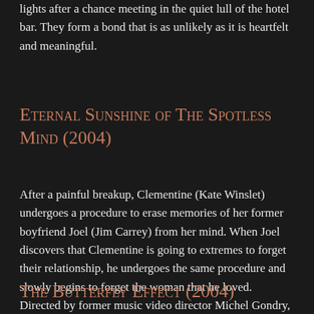lights after a chance meeting in the quiet lull of the hotel bar. They form a bond that is as unlikely as it is heartfelt and meaningful.
Eternal Sunshine of The Spotless Mind (2004)
After a painful breakup, Clementine (Kate Winslet) undergoes a procedure to erase memories of her former boyfriend Joel (Jim Carrey) from her mind. When Joel discovers that Clementine is going to extremes to forget their relationship, he undergoes the same procedure and slowly begins to forget the woman that he loved. Directed by former music video director Michel Gondry, the visually arresting film explores the intricacy of relationships and the pain of loss.
The Butterfly Effect (2004)